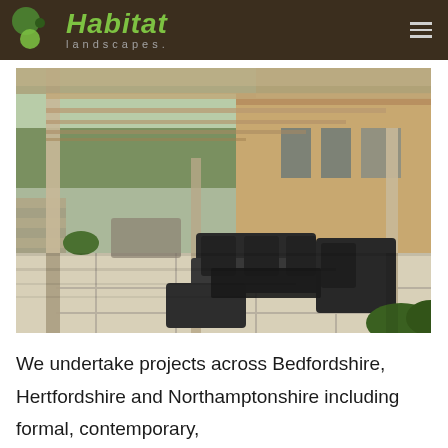Habitat landscapes.
[Figure (photo): Outdoor patio area with wooden pergola overhead, modern dark rattan garden furniture including sofas and ottoman on light stone/concrete paving. A contemporary house with wooden cladding visible in the background, along with green hedging and planted borders.]
We undertake projects across Bedfordshire, Hertfordshire and Northamptonshire including formal, contemporary,